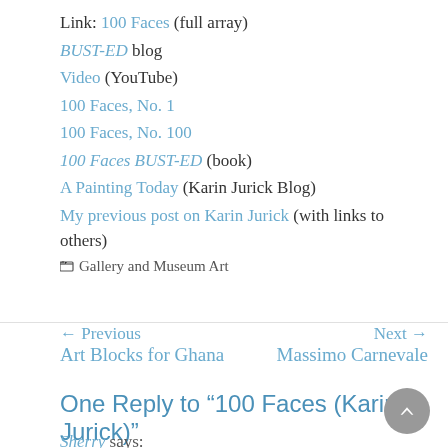Link: 100 Faces (full array)
BUST-ED blog
Video (YouTube)
100 Faces, No. 1
100 Faces, No. 100
100 Faces BUST-ED (book)
A Painting Today (Karin Jurick Blog)
My previous post on Karin Jurick (with links to others)
Gallery and Museum Art
← Previous
Art Blocks for Ghana
Next →
Massimo Carnevale
One Reply to “100 Faces (Karin Jurick)”
Sherry says:
Saturday, February 26, 2011 at 8:00 am